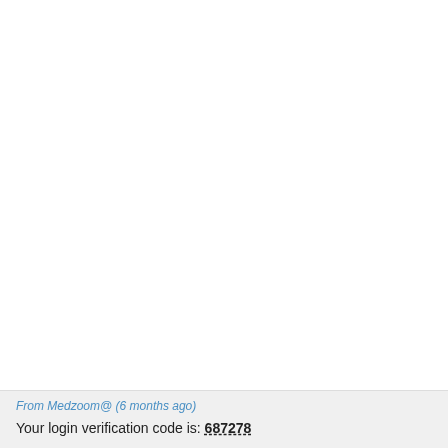From Medzoom@ (6 months ago)
Your login verification code is: 687278